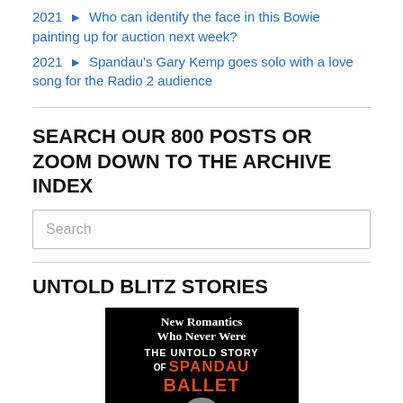2021 ► Who can identify the face in this Bowie painting up for auction next week?
2021 ► Spandau's Gary Kemp goes solo with a love song for the Radio 2 audience
SEARCH our 800 posts or ZOOM DOWN TO THE ARCHIVE INDEX
Search
UNTOLD BLITZ STORIES
[Figure (photo): Book cover for 'New Romantics Who Never Were: The Untold Story of Spandau Ballet' — black background with white and orange/red text, partial circular image at bottom]